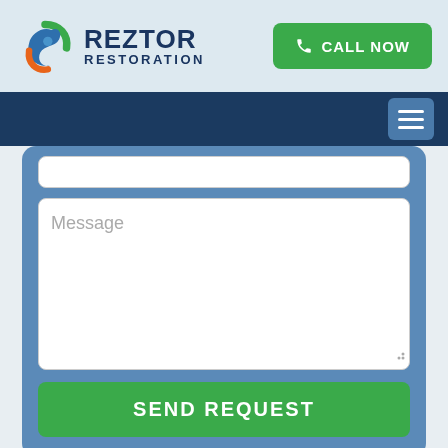[Figure (logo): Reztor Restoration logo with a circular bird/flame icon in green, blue, and orange]
CALL NOW
[Figure (screenshot): Dark blue navigation bar with hamburger menu icon on the right]
[Figure (screenshot): Contact form with Message textarea input and Send Request button on blue background]
[Figure (map): Map showing Brisbane area with road network and water]